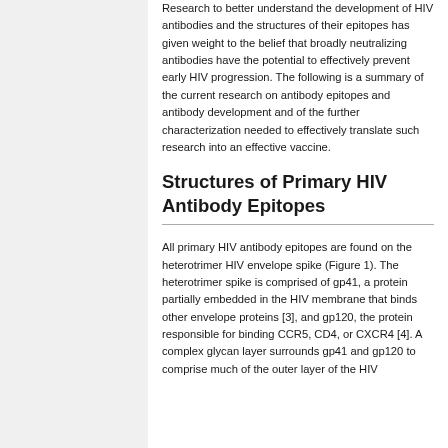Research to better understand the development of HIV antibodies and the structures of their epitopes has given weight to the belief that broadly neutralizing antibodies have the potential to effectively prevent early HIV progression. The following is a summary of the current research on antibody epitopes and antibody development and of the further characterization needed to effectively translate such research into an effective vaccine.
Structures of Primary HIV Antibody Epitopes
All primary HIV antibody epitopes are found on the heterotrimer HIV envelope spike (Figure 1). The heterotrimer spike is comprised of gp41, a protein partially embedded in the HIV membrane that binds other envelope proteins [3], and gp120, the protein responsible for binding CCR5, CD4, or CXCR4 [4]. A complex glycan layer surrounds gp41 and gp120 to comprise much of the outer layer of the HIV